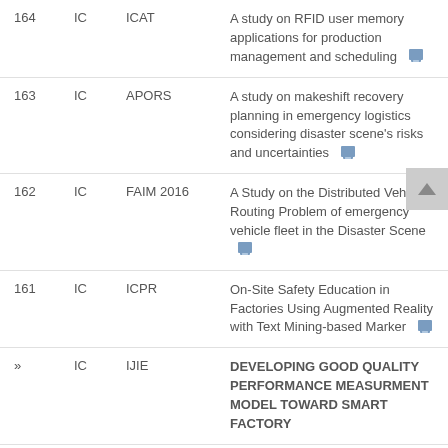| # | Type | Conference | Title |
| --- | --- | --- | --- |
| 164 | IC | ICAT | A study on RFID user memory applications for production management and scheduling |
| 163 | IC | APORS | A study on makeshift recovery planning in emergency logistics considering disaster scene's risks and uncertainties |
| 162 | IC | FAIM 2016 | A Study on the Distributed Vehicle Routing Problem of emergency vehicle fleet in the Disaster Scene |
| 161 | IC | ICPR | On-Site Safety Education in Factories Using Augmented Reality with Text Mining-based Marker |
| » | IC | IJIE | DEVELOPING GOOD QUALITY PERFORMANCE MEASURMENT MODEL TOWARD SMART FACTORY |
| 159 | IC | SISE | Inventory Management System using 3D-Camera & Deep |